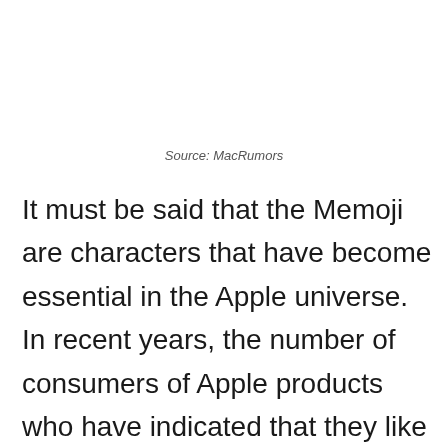Source: MacRumors
It must be said that the Memoji are characters that have become essential in the Apple universe. In recent years, the number of consumers of Apple products who have indicated that they like Memoji is impressive. For now, the information that they would provide